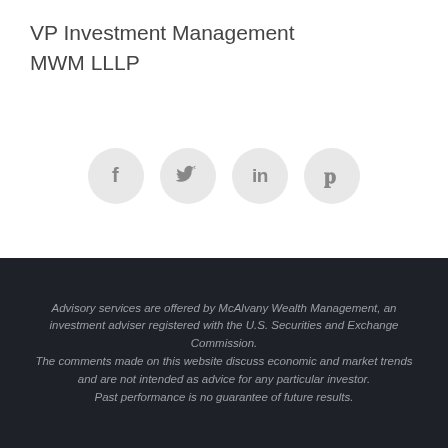VP Investment Management
MWM LLLP
[Figure (infographic): Four circular social media icon buttons in a row: Facebook (f), Twitter (bird), LinkedIn (in), Pinterest (p). Each icon is in a light gray circle on a white background.]
Advisory services are offered by McAlvany Wealth Management, an investment adviser registered with the U.S. Securities and Exchange Commission. The comments made on this website discuss economic and market trends and are not intended as advice for any particular investor. Past performance is no guarantee of future results.